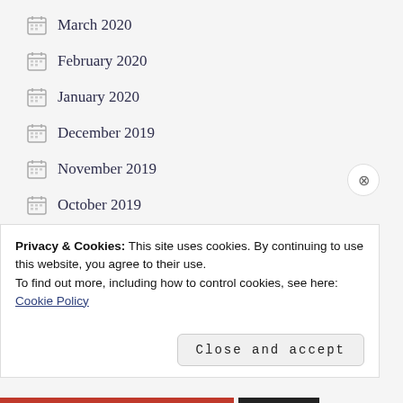March 2020
February 2020
January 2020
December 2019
November 2019
October 2019
September 2019
July 2019
June 2019
Privacy & Cookies: This site uses cookies. By continuing to use this website, you agree to their use.
To find out more, including how to control cookies, see here: Cookie Policy
Close and accept